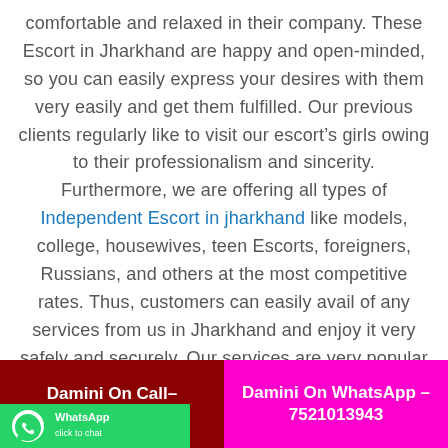comfortable and relaxed in their company. These Escort in Jharkhand are happy and open-minded, so you can easily express your desires with them very easily and get them fulfilled. Our previous clients regularly like to visit our escort’s girls owing to their professionalism and sincerity. Furthermore, we are offering all types of Independent Escort in jharkhand like models, college, housewives, teen Escorts, foreigners, Russians, and others at the most competitive rates. Thus, customers can easily avail of any services from us in Jharkhand and enjoy it very safely and securely. Our services are very popular in Jharkhand city and business person, travelers widely demanded it.
Damini On Call– 7521013943
Damini On WhatsApp – 7521013943
[Figure (screenshot): WhatsApp click to chat button/logo]